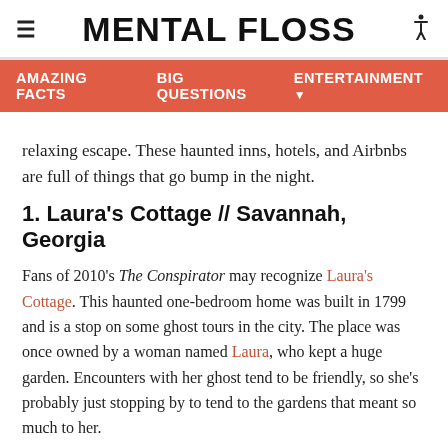MENTAL FLOSS
AMAZING FACTS   BIG QUESTIONS   ENTERTAINMENT
relaxing escape. These haunted inns, hotels, and Airbnbs are full of things that go bump in the night.
1. Laura's Cottage // Savannah, Georgia
Fans of 2010's The Conspirator may recognize Laura's Cottage. This haunted one-bedroom home was built in 1799 and is a stop on some ghost tours in the city. The place was once owned by a woman named Laura, who kept a huge garden. Encounters with her ghost tend to be friendly, so she's probably just stopping by to tend to the gardens that meant so much to her.
2. Omni Grove Park Inn // Asheville, North Carolina
[Figure (photo): Partial image at the bottom of the page, cut off]